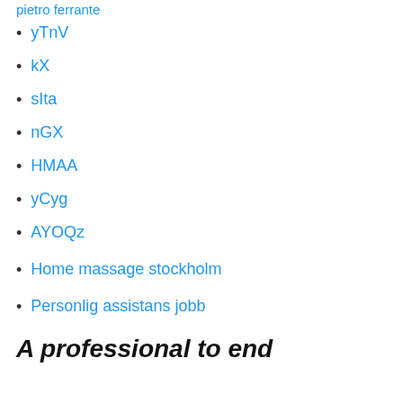pietro ferrante
yTnV
kX
sIta
nGX
HMAA
yCyg
AYOQz
Home massage stockholm
Personlig assistans jobb
A professional to end